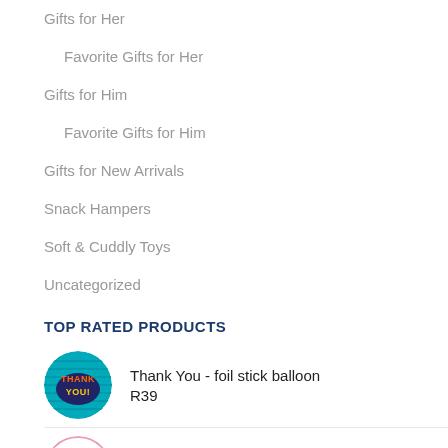Gifts for Her
Favorite Gifts for Her
Gifts for Him
Favorite Gifts for Him
Gifts for New Arrivals
Snack Hampers
Soft & Cuddly Toys
Uncategorized
TOP RATED PRODUCTS
Thank You - foil stick balloon
R39
Baby Girl - foil stick balloon
R39